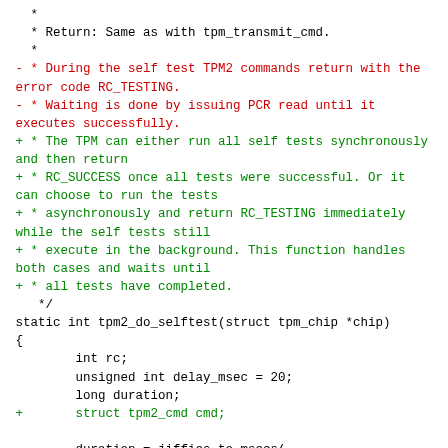Code diff showing a C function tpm2_do_selftest with removed and added lines. Context lines in black, removed lines in red prefixed with -, added lines in green prefixed with +.